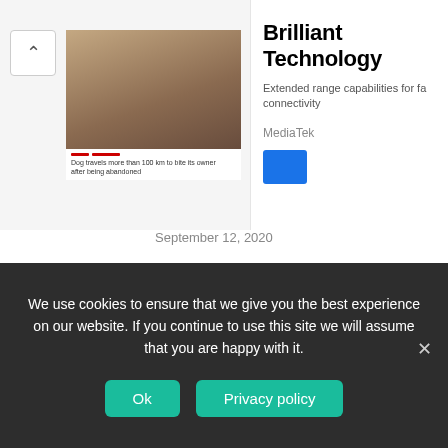[Figure (screenshot): Ad banner showing Brilliant Technology by MediaTek with image thumbnail and blue CTA button]
Brilliant Technology
Extended range capabilities for fa... connectivity
MediaTek
September 12, 2020
[Figure (photo): Photo of a woman in blue dress and a man in suit – article thumbnail]
Linda Ikeji is the reason I'm not yet married, says Nollywood actor Mike Godson
July 25, 2020
[Figure (photo): Thumbnail for article about fine boy – partial view]
The Pain of Being a Fine Boy in
We use cookies to ensure that we give you the best experience on our website. If you continue to use this site we will assume that you are happy with it.
Ok
Privacy policy